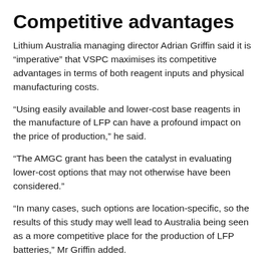Competitive advantages
Lithium Australia managing director Adrian Griffin said it is “imperative” that VSPC maximises its competitive advantages in terms of both reagent inputs and physical manufacturing costs.
“Using easily available and lower-cost base reagents in the manufacture of LFP can have a profound impact on the price of production,” he said.
“The AMGC grant has been the catalyst in evaluating lower-cost options that may not otherwise have been considered.”
“In many cases, such options are location-specific, so the results of this study may well lead to Australia being seen as a more competitive place for the production of LFP batteries,” Mr Griffin added.